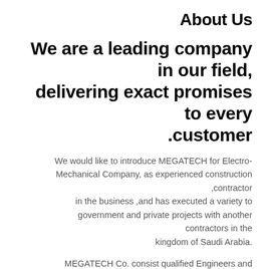About Us
We are a leading company in our field, delivering exact promises to every customer.
We would like to introduce MEGATECH for Electro-Mechanical Company, as experienced construction contractor, in the business ,and has executed a variety to government and private projects with another contractors in the kingdom of Saudi Arabia.
MEGATECH Co. consist qualified Engineers and Technicians ,had good experience with all work and use the